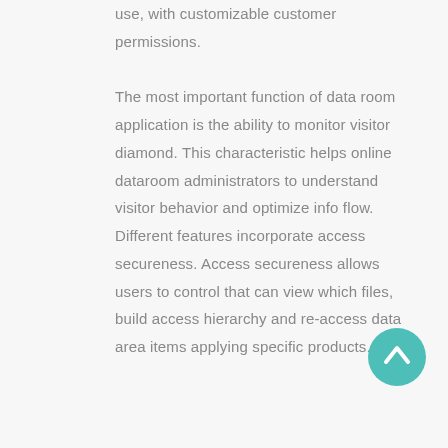use, with customizable customer permissions. The most important function of data room application is the ability to monitor visitor diamond. This characteristic helps online dataroom administrators to understand visitor behavior and optimize info flow. Different features incorporate access secureness. Access secureness allows users to control that can view which files, build access hierarchy and re-access data area items applying specific products. For
[Figure (other): Teal/green circular scroll-to-top button with an upward-pointing chevron/arrow icon]